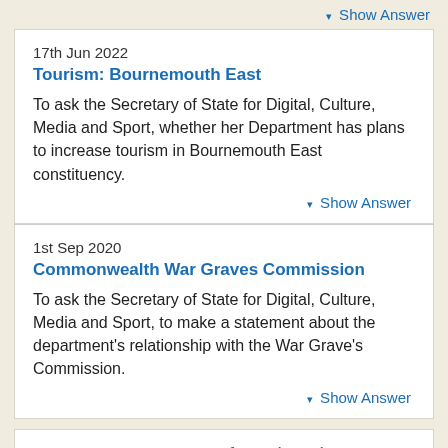▾ Show Answer
17th Jun 2022
Tourism: Bournemouth East
To ask the Secretary of State for Digital, Culture, Media and Sport, whether her Department has plans to increase tourism in Bournemouth East constituency.
▾ Show Answer
1st Sep 2020
Commonwealth War Graves Commission
To ask the Secretary of State for Digital, Culture, Media and Sport, to make a statement about the department's relationship with the War Grave's Commission.
▾ Show Answer
1 Department for Education